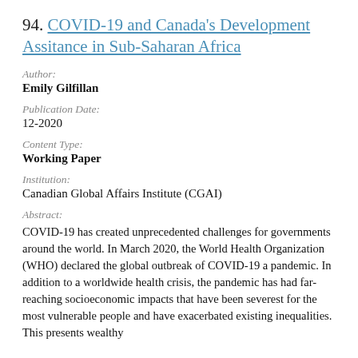94. COVID-19 and Canada's Development Assitance in Sub-Saharan Africa
Author:
Emily Gilfillan
Publication Date:
12-2020
Content Type:
Working Paper
Institution:
Canadian Global Affairs Institute (CGAI)
Abstract:
COVID-19 has created unprecedented challenges for governments around the world. In March 2020, the World Health Organization (WHO) declared the global outbreak of COVID-19 a pandemic. In addition to a worldwide health crisis, the pandemic has had far-reaching socioeconomic impacts that have been severest for the most vulnerable people and have exacerbated existing inequalities. This presents wealthy